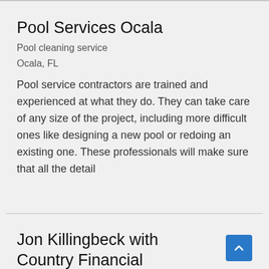Pool Services Ocala
Pool cleaning service
Ocala, FL
Pool service contractors are trained and experienced at what they do. They can take care of any size of the project, including more difficult ones like designing a new pool or redoing an existing one. These professionals will make sure that all the detail
Jon Killingbeck with Country Financial